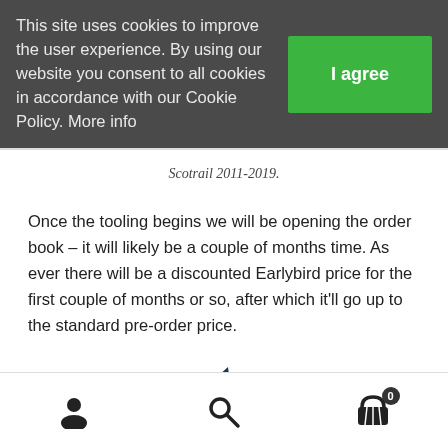This site uses cookies to improve the user experience. By using our website you consent to all cookies in accordance with our Cookie Policy. More info
Scotrail 2011-2019.
Once the tooling begins we will be opening the order book – it will likely be a couple of months time. As ever there will be a discounted Earlybird price for the first couple of months or so, after which it'll go up to the standard pre-order price.
[Figure (illustration): Partial image showing a plant/grass illustration with teal and salmon colors, partially visible at the bottom of the content area]
User icon | Search icon | Cart icon with badge 0